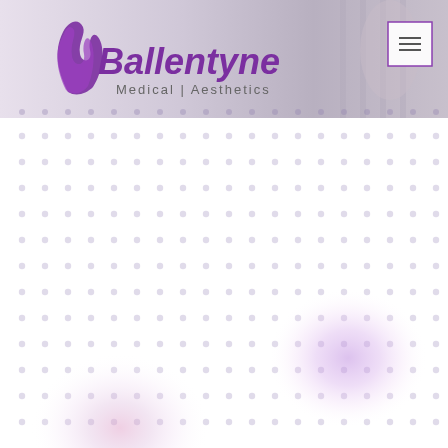[Figure (photo): Ballentyne Medical Aesthetics website header with logo on the left showing a flame-like purple swirl and stylized text 'Ballentyne Medical Aesthetics', background shows a woman in fitness/medical context, hamburger menu button in top right corner with purple border]
[Figure (illustration): Decorative dot grid pattern on white background, rows and columns of small light lavender/gray circles, with two soft glowing blurred blobs of purple/pink color — one in the lower right area and one in the lower left area of the grid]